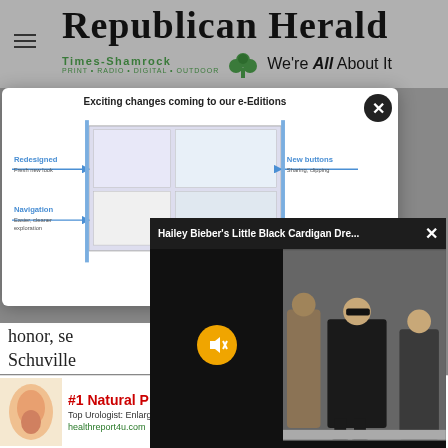[Figure (screenshot): Republican Herald newspaper website header with hamburger menu icon, Times-Shamrock logo with shamrock icon and tagline 'We're All About It']
[Figure (screenshot): White modal popup showing 'Exciting changes coming to our e-Editions' diagram with redesigned and navigation callouts, overlaid by a video popup titled 'Hailey Bieber's Little Black Cardigan Dre...' with muted video showing a person in black dress]
honor, se
Schuville
[Figure (screenshot): Advertisement banner: '#1 Natural Prostate Treatment' with medical illustration, text 'Top Urologist: Enlarged Prostate? Do This Immediately!' and link 'healthreport4u.com', with close button and purple arrow button]